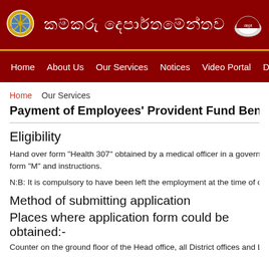[Figure (logo): Sri Lanka Labour Department government website header with Sinhala script title and two logos on dark red background]
Home   About Us   Our Services   Notices   Video Portal   Downloads
Home   Our Services
Payment of Employees' Provident Fund Benefits on Me...
Eligibility
Hand over form "Health 307" obtained by a medical officer in a government hospi... form "M" and instructions.
N:B: It is compulsory to have been left the employment at the time of claiming for...
Method of submitting application
Places where application form could be obtained:-
Counter on the ground floor of the Head office, all District offices and Labour sub o...